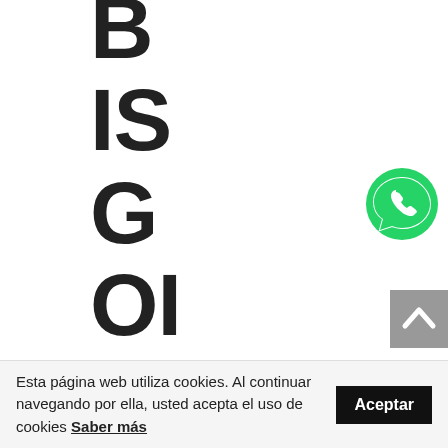B IS G OI NG TO
[Figure (logo): WhatsApp green phone icon button on the right side]
[Figure (other): Grey scroll-to-top button with upward chevron arrow]
Esta página web utiliza cookies. Al continuar navegando por ella, usted acepta el uso de cookies Saber más Aceptar